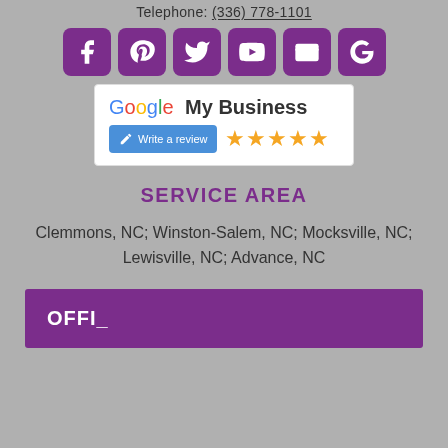Telephone: (336) 778-1101
[Figure (infographic): Row of 6 purple rounded-square social media icon buttons: Facebook, Pinterest, Twitter, YouTube, a wallet/card icon, and Google]
[Figure (infographic): Google My Business white box with Google logo, 'My Business' text, a blue 'Write a review' button with pencil icon, and 5 gold stars]
SERVICE AREA
Clemmons, NC; Winston-Salem, NC; Mocksville, NC; Lewisville, NC; Advance, NC
OFFI_